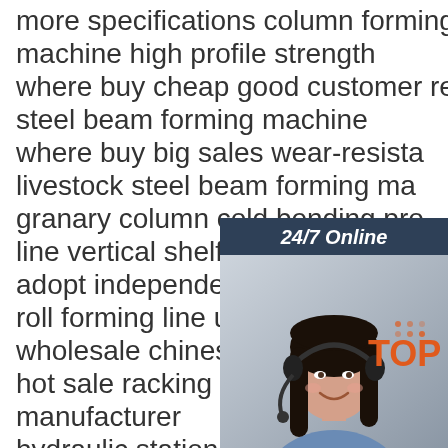more specifications column forming machine high profile strength where buy cheap good customer reputation steel beam forming machine where buy big sales wear-resistant livestock steel beam forming machine granary column cold bending production line vertical shelf manufacturer adopt independent frame structure roll forming line used new energy wholesale chinese wholesaler hot sale racking rod production line manufacturer hydraulic station 5 5kw single circuit high-speed automatic tf good performance xinxiang zhengzhou china use new parts tf roofing panel roll forming
[Figure (infographic): Customer service chat widget with 24/7 Online label, photo of smiling woman with headset, Click here for free chat text, and orange QUOTATION button]
[Figure (logo): Orange and dark TOP logo with dot pattern in top right corner of page]